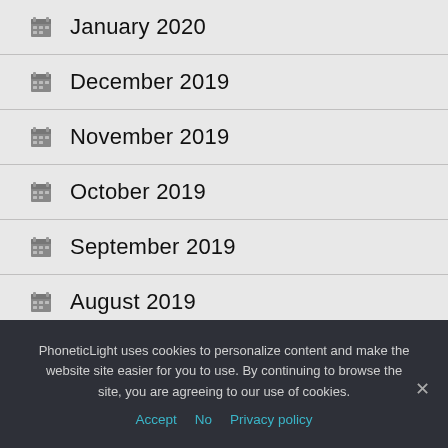January 2020
December 2019
November 2019
October 2019
September 2019
August 2019
July 2019
PhoneticLight uses cookies to personalize content and make the website site easier for you to use. By continuing to browse the site, you are agreeing to our use of cookies.
Accept  No  Privacy policy